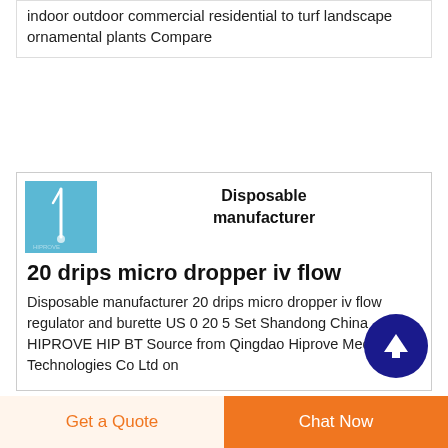indoor outdoor commercial residential to turf landscape ornamental plants Compare
[Figure (photo): Small product thumbnail image with light blue background showing a medical dropper/IV flow regulator]
Disposable manufacturer
20 drips micro dropper iv flow
Disposable manufacturer 20 drips micro dropper iv flow regulator and burette US 0 20 5 Set Shandong China HIPROVE HIP BT Source from Qingdao Hiprove Medical Technologies Co Ltd on
[Figure (other): Scroll to top button — dark navy circle with white upward arrow]
Get a Quote
Chat Now